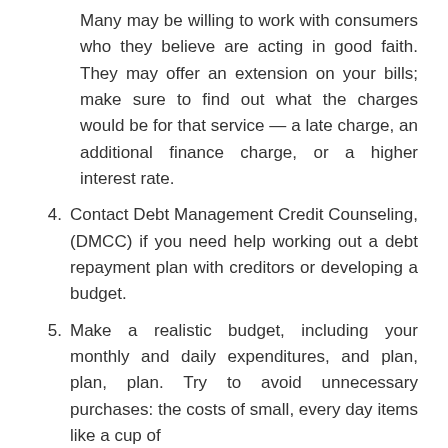Many may be willing to work with consumers who they believe are acting in good faith. They may offer an extension on your bills; make sure to find out what the charges would be for that service — a late charge, an additional finance charge, or a higher interest rate.
Contact Debt Management Credit Counseling, (DMCC) if you need help working out a debt repayment plan with creditors or developing a budget.
Make a realistic budget, including your monthly and daily expenditures, and plan, plan, plan. Try to avoid unnecessary purchases: the costs of small, every day items like a cup of